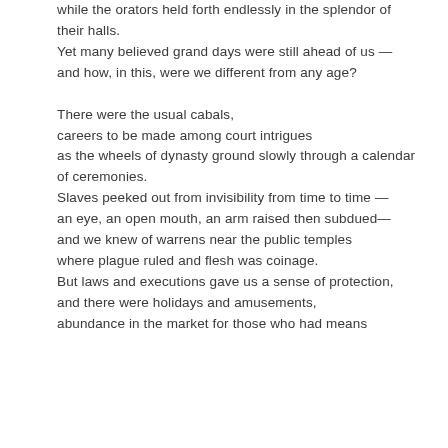while the orators held forth endlessly in the splendor of their halls.
Yet many believed grand days were still ahead of us —
and how, in this, were we different from any age?

There were the usual cabals,
careers to be made among court intrigues
as the wheels of dynasty ground slowly through a calendar of ceremonies.
Slaves peeked out from invisibility from time to time —
an eye, an open mouth, an arm raised then subdued—
and we knew of warrens near the public temples
where plague ruled and flesh was coinage.
But laws and executions gave us a sense of protection,
and there were holidays and amusements,
abundance in the market for those who had means